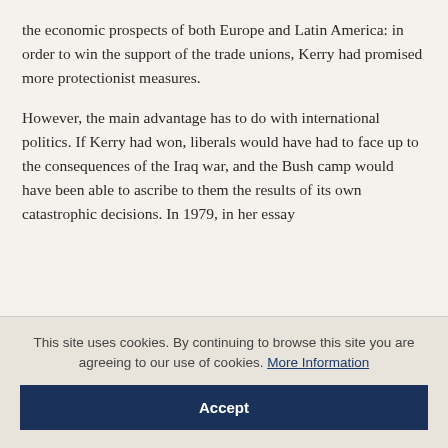the economic prospects of both Europe and Latin America: in order to win the support of the trade unions, Kerry had promised more protectionist measures.
However, the main advantage has to do with international politics. If Kerry had won, liberals would have had to face up to the consequences of the Iraq war, and the Bush camp would have been able to ascribe to them the results of its own catastrophic decisions. In 1979, in her essay
This site uses cookies. By continuing to browse this site you are agreeing to our use of cookies. More Information
Accept